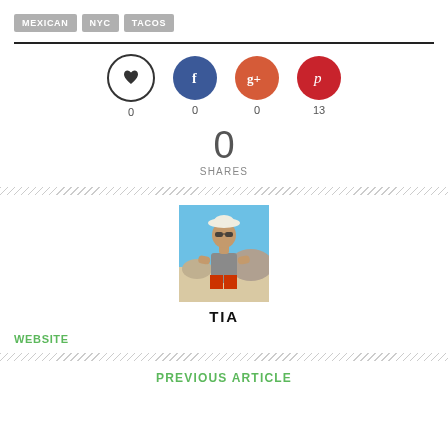MEXICAN  NYC  TACOS
[Figure (infographic): Social sharing buttons row: heart/like circle (0), Facebook blue circle (0), Google+ orange circle (0), Pinterest red circle (13). Total shares: 0 SHARES.]
[Figure (photo): Photo of a person named TIA at a beach, wearing a white hat, sunglasses, grey tank top and red/orange shorts, with rocks and blue water in background.]
TIA
WEBSITE
PREVIOUS ARTICLE